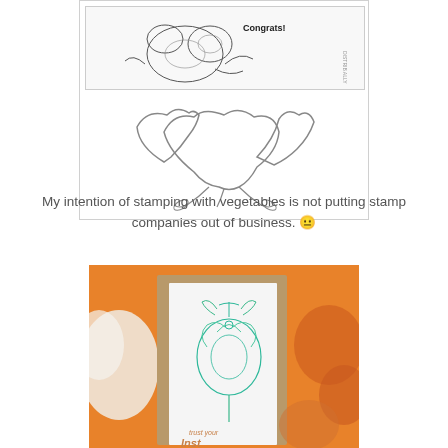[Figure (illustration): A rubber stamp product package showing line-art floral/peony design with 'Congrats!' text at top, and below it die-cut flower outlines]
My intention of stamping with vegetables is not putting stamp companies out of business. 😐
[Figure (photo): Photo of a handmade greeting card featuring teal/green stamped floral design with 'trust your' text visible, set against orange and white bokeh background]